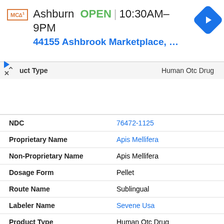[Figure (screenshot): McDonald's store location banner showing Ashburn store OPEN 10:30AM-9PM with address 44155 Ashbrook Marketplace and navigation icon]
| Field | Value |
| --- | --- |
| Product Type | Human Otc Drug |
| NDC | 76472-1125 |
| Proprietary Name | Apis Mellifera |
| Non-Proprietary Name | Apis Mellifera |
| Dosage Form | Pellet |
| Route Name | Sublingual |
| Labeler Name | Sevene Usa |
| Product Type | Human Otc Drug |
| NDC | 76472-3002 |
| Proprietary Name | Apis Mellifera 200ck |
| Non-Proprietary Name | Apis Mellifera |